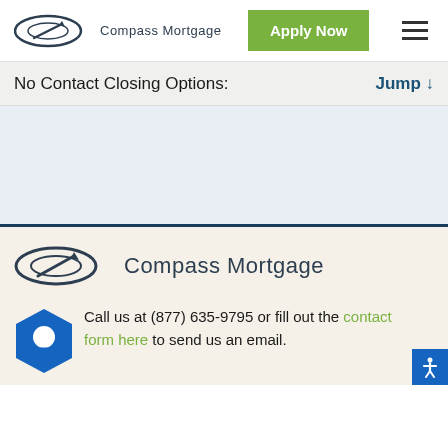Compass Mortgage | Apply Now
No Contact Closing Options:    Jump ↓
[Figure (other): Empty content area with light blue-gray background]
[Figure (logo): Compass Mortgage logo - large footer version with ellipse and compass needle icon]
Call us at (877) 635-9795 or fill out the contact form here to send us an email.